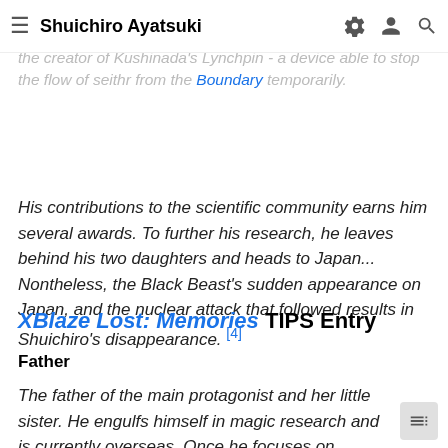Shuichiro Ayatsuki
Celica and Nine's father. A famous researcher whose work centers around the merging of souls and objects. He is also the creator of Kushinada's Lynchpin - a device able to stop the flow of seithr from the Boundary temporarily.
His contributions to the scientific community earns him several awards. To further his research, he leaves behind his two daughters and heads to Japan... Nontheless, the Black Beast's sudden appearance on Japan, and the nuclear attack that followed results in Shuichiro's disappearance. [4]
XBlaze Lost: Memories TIPS Entry
Father
The father of the main protagonist and her little sister. He engulfs himself in magic research and is currently overseas. Once he focuses on something he is incanat